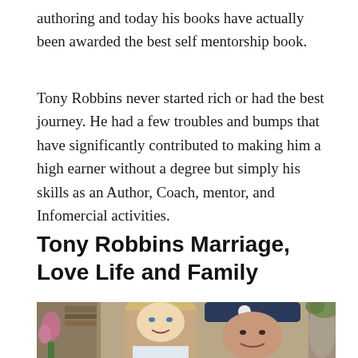authoring and today his books have actually been awarded the best self mentorship book.
Tony Robbins never started rich or had the best journey. He had a few troubles and bumps that have significantly contributed to making him a high earner without a degree but simply his skills as an Author, Coach, mentor, and Infomercial activities.
Tony Robbins Marriage, Love Life and Family
[Figure (photo): Photo of Tony Robbins and a woman (likely his wife), both smiling, posing together indoors. Tony wears a dark blue cap with a white clover/flower emblem. Background shows bookshelves, plants including pink orchids, and decorative items.]